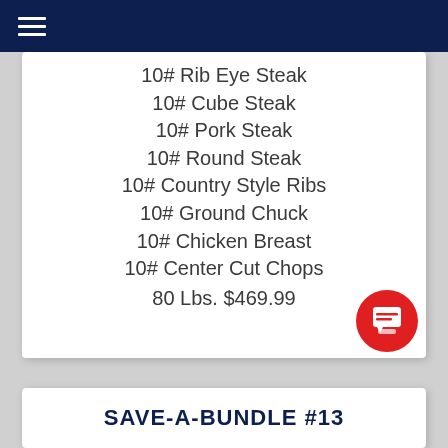10# Rib Eye Steak
10# Cube Steak
10# Pork Steak
10# Round Steak
10# Country Style Ribs
10# Ground Chuck
10# Chicken Breast
10# Center Cut Chops
80 Lbs. $469.99
SAVE-A-BUNDLE #13